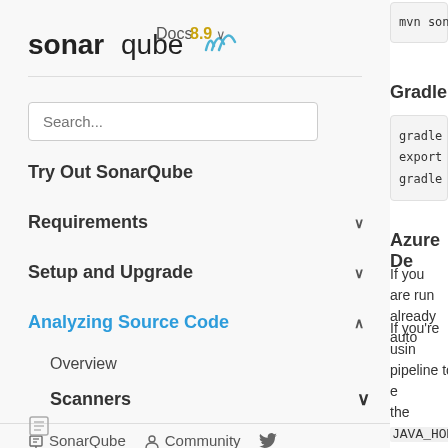[Figure (logo): SonarQube logo with wave icon and 'Docs 8.9' version label]
Search...
Try Out SonarQube
Requirements
Setup and Upgrade
Analyzing Source Code (active, expanded)
Overview
Scanners
SonarQube   Community
mvn sonar:
Gradle
gradle bui
export JAV
gradle son
Azure De
If you are run already auto
If you're usin pipeline to e the JAVA_HOM analysis.